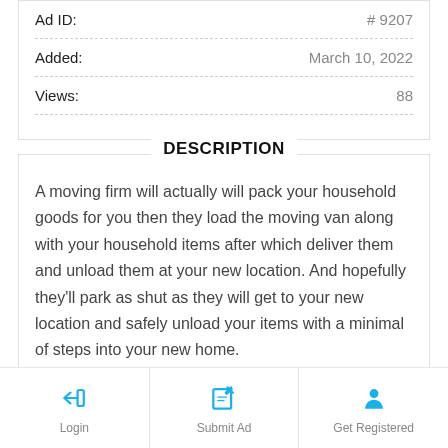Ad ID: # 9207
Added: March 10, 2022
Views: 88
DESCRIPTION
A moving firm will actually will pack your household goods for you then they load the moving van along with your household items after which deliver them and unload them at your new location. And hopefully they'll park as shut as they will get to your new location and safely unload your items with a minimal of steps into your new home.
Login | Submit Ad | Get Registered